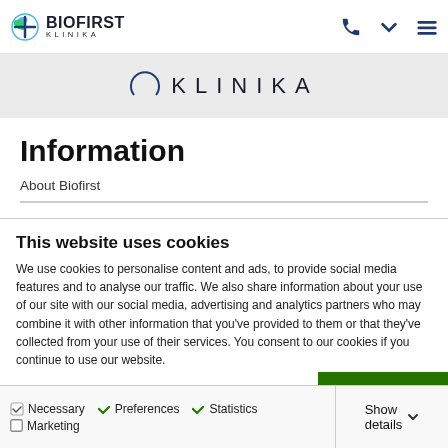[Figure (logo): Biofirst Klinika logo with blue cross/leaf icon and text BIOFIRST KLINIKA]
[Figure (logo): Klinika partial banner logo with circle arc and text KLINIKA]
Information
About Biofirst
This website uses cookies
We use cookies to personalise content and ads, to provide social media features and to analyse our traffic. We also share information about your use of our site with our social media, advertising and analytics partners who may combine it with other information that you've provided to them or that they've collected from your use of their services. You consent to our cookies if you continue to use our website.
OK
Necessary  Preferences  Statistics  Marketing  Show details